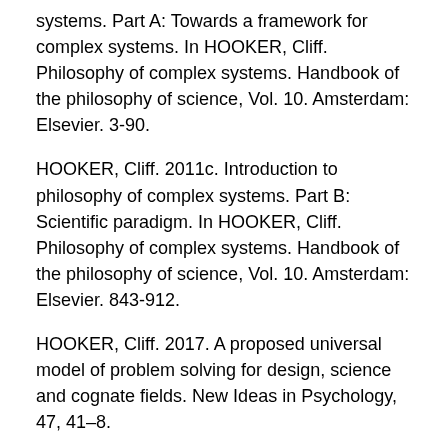systems. Part A: Towards a framework for complex systems. In HOOKER, Cliff. Philosophy of complex systems. Handbook of the philosophy of science, Vol. 10. Amsterdam: Elsevier. 3-90.
HOOKER, Cliff. 2011c. Introduction to philosophy of complex systems. Part B: Scientific paradigm. In HOOKER, Cliff. Philosophy of complex systems. Handbook of the philosophy of science, Vol. 10. Amsterdam: Elsevier. 843-912.
HOOKER, Cliff. 2017. A proposed universal model of problem solving for design, science and cognate fields. New Ideas in Psychology, 47, 41–8.
HOOKER, Giles, HOOKER Cliff. 2018. Machine Learning and the Future of Realism. Spontaneous Generations: A Journal for the History and Philosophy of Science, 9(1) Forbes, C. Ed. The Future of the Scientific Realism Debate: Contemporary Issues Concerning Scientific Realism. 174-182.